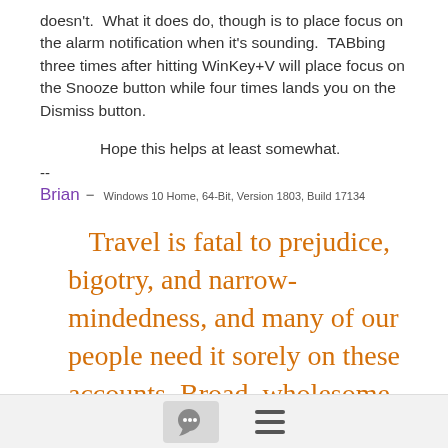doesn't.  What it does do, though is to place focus on the alarm notification when it's sounding.  TABbing three times after hitting WinKey+V will place focus on the Snooze button while four times lands you on the Dismiss button.
Hope this helps at least somewhat.
--
Brian - Windows 10 Home, 64-Bit, Version 1803, Build 17134
Travel is fatal to prejudice, bigotry, and narrow-mindedness, and many of our people need it sorely on these accounts. Broad, wholesome, charitable views of men and things cannot be acquired by vegetating in one little corner of the earth
[chat icon] [menu icon]